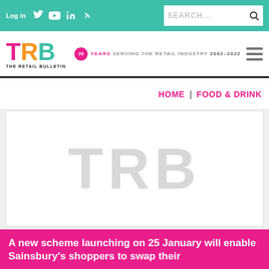Log in | Twitter | YouTube | LinkedIn | RSS | SEARCH...
[Figure (logo): The Retail Bulletin logo - TRB letters in pink, orange, teal with tagline 'THE RETAIL BULLETIN' and '20 YEARS SERVING THE RETAIL INDUSTRY 2002-2022']
HOME | FOOD & DRINK
[Figure (illustration): TRB watermark placeholder image on white background]
A new scheme launching on 25 January will enable Sainsbury's shoppers to swap their